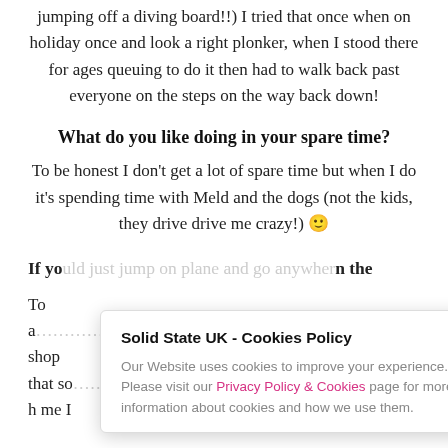jumping off a diving board!!) I tried that once when on holiday once and look a right plonker, when I stood there for ages queuing to do it then had to walk back past everyone on the steps on the way back down!
What do you like doing in your spare time?
To be honest I don't get a lot of spare time but when I do it's spending time with Meld and the dogs (not the kids, they drive drive me crazy!) 🙂
If you could just jump on plane and go anywhere in the world, where would you go and why?
To a … shop that so … h me I … would be happy!
Solid State UK - Cookies Policy
Our Website uses cookies to improve your experience. Please visit our Privacy Policy & Cookies page for more information about cookies and how we use them.